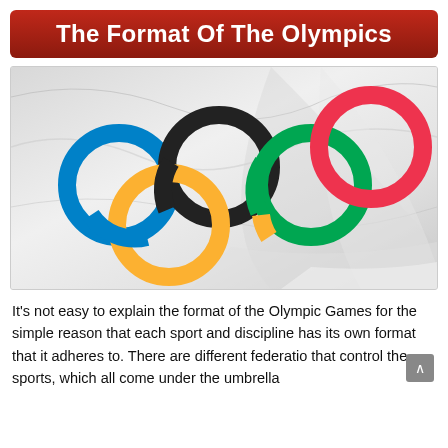The Format Of The Olympics
[Figure (photo): Olympic flag with five interlocking rings (blue, black, red, yellow, green) on a white fabric, photographed close-up with dramatic lighting.]
It's not easy to explain the format of the Olympic Games for the simple reason that each sport and discipline has its own format that it adheres to. There are different federatio that control the sports, which all come under the umbrella